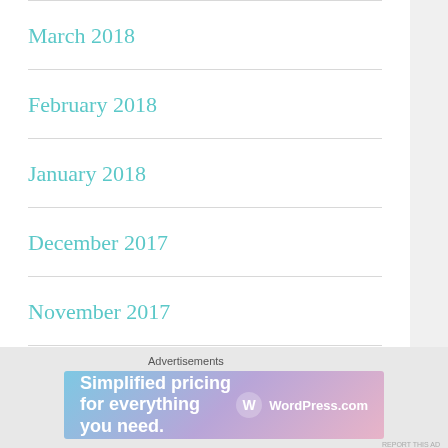March 2018
February 2018
January 2018
December 2017
November 2017
October 2017
September 2017
[Figure (other): WordPress.com advertisement banner: 'Simplified pricing for everything you need.']